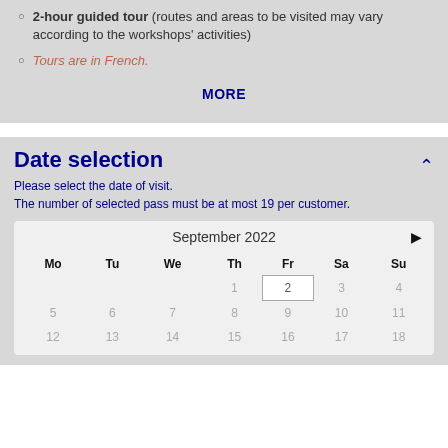2-hour guided tour (routes and areas to be visited may vary according to the workshops' activities)
Tours are in French.
MORE
Date selection
Please select the date of visit.
The number of selected pass must be at most 19 per customer.
| Mo | Tu | We | Th | Fr | Sa | Su |
| --- | --- | --- | --- | --- | --- | --- |
|  |  |  | 1 | 2 | 3 | 4 |
| 5 | 6 | 7 | 8 | 9 | 10 | 11 |
| 12 | 13 | 14 | 15 | 16 | 17 | 18 |